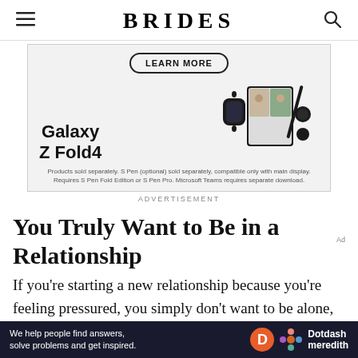BRIDES
[Figure (illustration): Samsung Galaxy Z Fold4 advertisement showing a LEARN MORE button, the product name, a smartwatch, a foldable phone with video call on screen, earbuds, and a stylus. Disclaimer text reads: Products sold separately. S Pen (optional) sold separately, compatible only with main display. Requires S Pen Fold Edition or S Pen Pro. Microsoft Teams requires separate download.]
ADVERTISEMENT
You Truly Want to Be in a Relationship
If you're starting a new relationship because you're feeling pressured, you simply don't want to be alone, or you feel as though the clock is ticking to find someone
[Figure (logo): Dotdash Meredith bottom banner: 'We help people find answers, solve problems and get inspired.' with Dotdash Meredith logo.]